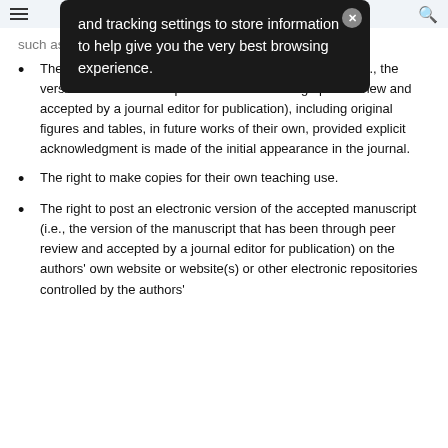[ hamburger menu | search icon ]
[Figure (other): Dark tooltip overlay showing text: 'and tracking settings to store information to help give you the very best browsing experience.' with an X close button in the top right corner.]
such as patent rights.
The right to use all or part of the accepted manuscript (i.e., the version of the manuscript that has been through peer review and accepted by a journal editor for publication), including original figures and tables, in future works of their own, provided explicit acknowledgment is made of the initial appearance in the journal.
The right to make copies for their own teaching use.
The right to post an electronic version of the accepted manuscript (i.e., the version of the manuscript that has been through peer review and accepted by a journal editor for publication) on the authors' own website or website(s) or other electronic repositories controlled by the authors'